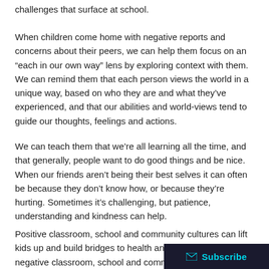challenges that surface at school.
When children come home with negative reports and concerns about their peers, we can help them focus on an “each in our own way” lens by exploring context with them. We can remind them that each person views the world in a unique way, based on who they are and what they’ve experienced, and that our abilities and world-views tend to guide our thoughts, feelings and actions.
We can teach them that we’re all learning all the time, and that generally, people want to do good things and be nice. When our friends aren’t being their best selves it can often be because they don’t know how, or because they’re hurting. Sometimes it’s challenging, but patience, understanding and kindness can help.
Positive classroom, school and community cultures can lift kids up and build bridges to health and achievement, while negative classroom, school and community cultures, pointedly focused on the expressions and actions of a particular child, can deteriorate that child’s self image, limit their potential, and engrain increased worry and fear in ot…